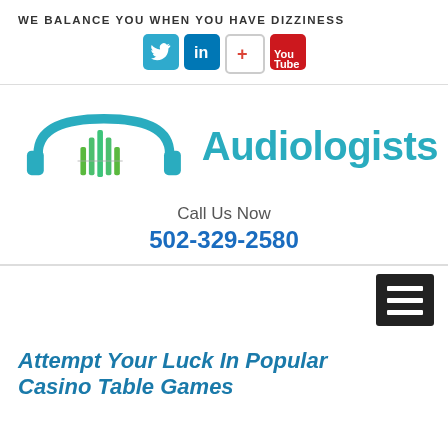WE BALANCE YOU WHEN YOU HAVE DIZZINESS
[Figure (logo): Social media icons: Twitter (bird), LinkedIn (in), Google+ (+), YouTube]
[Figure (logo): Audiologists logo with headphones and audio waveform graphic in teal and green, with text 'Audiologists' in teal]
Call Us Now
502-329-2580
[Figure (other): Hamburger menu icon (three horizontal lines) on dark background]
Attempt Your Luck In Popular Casino Table Games